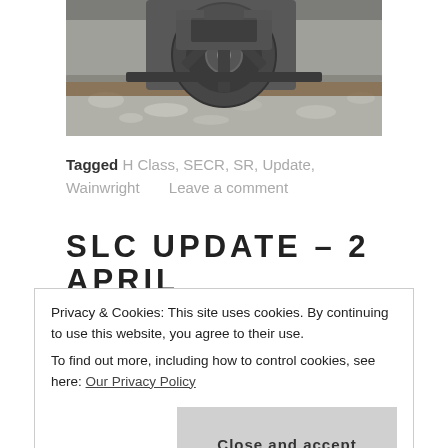[Figure (photo): Close-up photo of a train wheel and rail track mechanism, dark metallic components on gravel/stone ballast.]
Tagged H Class, SECR, SR, Update, Wainwright   Leave a comment
SLC UPDATE – 2 APRIL
Privacy & Cookies: This site uses cookies. By continuing to use this website, you agree to their use.
To find out more, including how to control cookies, see here: Our Privacy Policy
Close and accept
SLC continues apace and I hope to soon release a